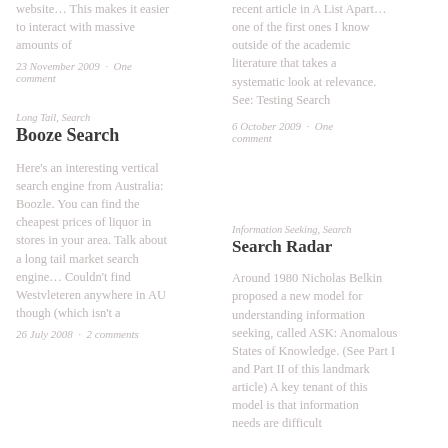website… This makes it easier to interact with massive amounts of
23 November 2009 · One comment
Long Tail, Search
Booze Search
Here's an interesting vertical search engine from Australia: Boozle. You can find the cheapest prices of liquor in stores in your area. Talk about a long tail market search engine… Couldn't find Westvleteren anywhere in AU though (which isn't a
26 July 2008 · 2 comments
recent article in A List Apa… one of the first ones I know outside of the academic literature that takes a systematic look at relevance. See: Testing Search
6 October 2009 · One comment
Information Seeking, Search
Search Radar
Around 1980 Nicholas Belkin proposed a new model for understanding information seeking, called ASK: Anomalous States of Knowledge. (See Part I and Part II of this landmark article) A key tenant of this model is that information needs are difficult
1 May 2008 · Leave a comment